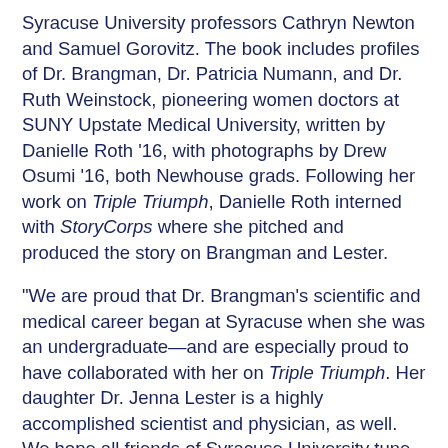Syracuse University professors Cathryn Newton and Samuel Gorovitz. The book includes profiles of Dr. Brangman, Dr. Patricia Numann, and Dr. Ruth Weinstock, pioneering women doctors at SUNY Upstate Medical University, written by Danielle Roth '16, with photographs by Drew Osumi '16, both Newhouse grads. Following her work on Triple Triumph, Danielle Roth interned with StoryCorps where she pitched and produced the story on Brangman and Lester.
“We are proud that Dr. Brangman’s scientific and medical career began at Syracuse when she was an undergraduate—and are especially proud to have collaborated with her on Triple Triumph. Her daughter Dr. Jenna Lester is a highly accomplished scientist and physician, as well. We hope all friends of Syracuse University tune in to hear their story tomorrow,” says Newton.
StoryCorps is an independent nonprofit project whose mission is to honor and celebrate the lives of everyday